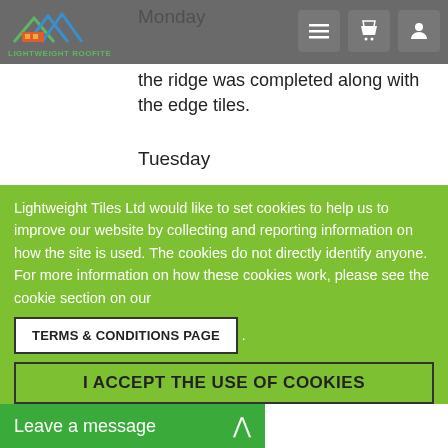Lightweight Roofite — Navigation bar with logo and icons
Monday
the ridge was completed along with the edge tiles.
Tuesday
the lead substitute was in place.
THE PROJECT WAS COMPLETE.
Wednesday
our excess tiles etc were taken back to the
Lightweight Tiles Ltd would like to set cookies to help us to improve our website by collecting and reporting information on how the site is used. The cookies do not directly identify anyone. For more information on how these cookies work, please see the cookie section on our TERMS & CONDITIONS PAGE .
I ACCEPT THE USE OF COOKIES
Leave a message